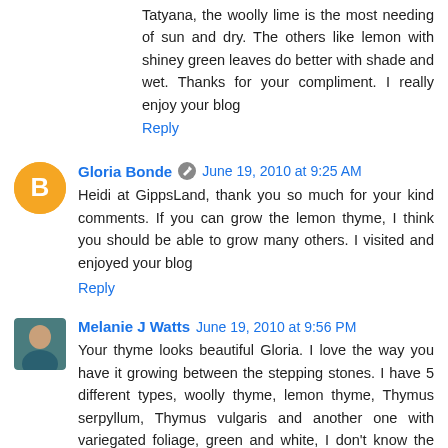Tatyana, the woolly lime is the most needing of sun and dry. The others like lemon with shiney green leaves do better with shade and wet. Thanks for your compliment. I really enjoy your blog
Reply
Gloria Bonde  June 19, 2010 at 9:25 AM
Heidi at GippsLand, thank you so much for your kind comments. If you can grow the lemon thyme, I think you should be able to grow many others. I visited and enjoyed your blog
Reply
Melanie J Watts  June 19, 2010 at 9:56 PM
Your thyme looks beautiful Gloria. I love the way you have it growing between the stepping stones. I have 5 different types, woolly thyme, lemon thyme, Thymus serpyllum, Thymus vulgaris and another one with variegated foliage, green and white, I don't know the name of.